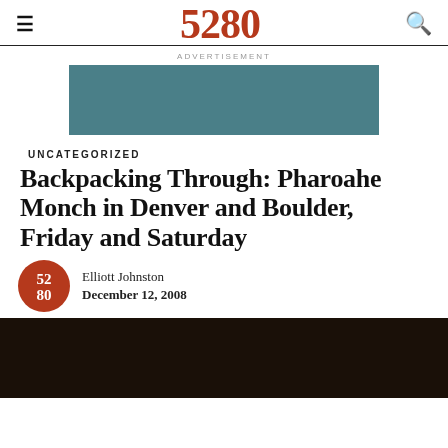5280
ADVERTISEMENT
[Figure (other): Advertisement banner rectangle in teal/dark cyan color]
UNCATEGORIZED
Backpacking Through: Pharoahe Monch in Denver and Boulder, Friday and Saturday
[Figure (logo): 5280 magazine circular logo in red/terracotta with white text reading 52/80]
Elliott Johnston
December 12, 2008
[Figure (photo): Dark concert or event photograph, mostly dark brown and black tones]